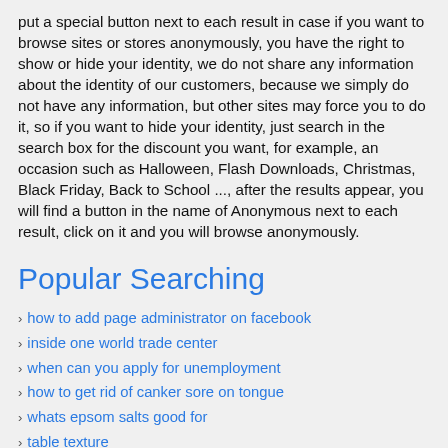put a special button next to each result in case if you want to browse sites or stores anonymously, you have the right to show or hide your identity, we do not share any information about the identity of our customers, because we simply do not have any information, but other sites may force you to do it, so if you want to hide your identity, just search in the search box for the discount you want, for example, an occasion such as Halloween, Flash Downloads, Christmas, Black Friday, Back to School ..., after the results appear, you will find a button in the name of Anonymous next to each result, click on it and you will browse anonymously.
Popular Searching
how to add page administrator on facebook
inside one world trade center
when can you apply for unemployment
how to get rid of canker sore on tongue
whats epsom salts good for
table texture